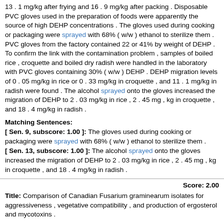13 . 1 mg/kg after frying and 16 . 9 mg/kg after packing . Disposable PVC gloves used in the preparation of foods were apparently the source of high DEHP concentrations . The gloves used during cooking or packaging were sprayed with 68% ( w/w ) ethanol to sterilize them . PVC gloves from the factory contained 22 or 41% by weight of DEHP . To confirm the link with the contamination problem , samples of boiled rice , croquette and boiled dry radish were handled in the laboratory with PVC gloves containing 30% ( w/w ) DEHP . DEHP migration levels of 0 . 05 mg/kg in rice or 0 . 33 mg/kg in croquette , and 11 . 1 mg/kg in radish were found . The alcohol sprayed onto the gloves increased the migration of DEHP to 2 . 03 mg/kg in rice , 2 . 45 mg , kg in croquette , and 18 . 4 mg/kg in radish .
Matching Sentences:
[ Sen. 9, subscore: 1.00 ]: The gloves used during cooking or packaging were sprayed with 68% ( w/w ) ethanol to sterilize them . [ Sen. 13, subscore: 1.00 ]: The alcohol sprayed onto the gloves increased the migration of DEHP to 2 . 03 mg/kg in rice , 2 . 45 mg , kg in croquette , and 18 . 4 mg/kg in radish .
Score: 2.00
Title: Comparison of Canadian Fusarium graminearum isolates for aggressiveness , vegetative compatibility , and production of ergosterol and mycotoxins .
Author: Gilbert J Abramson D McCallum B Clear R
Journal: Mycopathologia Type: ARTICLE
Literature: oryza Field: abstract Doc ID: pub12014482
Abstract: Fusarium graminearum is the predominant pathogen causing fusarium head blight of cereals in North America . Fifteen Canadian isolates of Fusarium graminearum were highly diverse in terms of